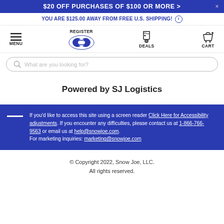$20 OFF PURCHASES OF $100 OR MORE >
YOU ARE $125.00 AWAY FROM FREE U.S. SHIPPING!
[Figure (screenshot): Navigation bar with menu icon, Snow Joe logo, deals icon, and cart icon. REGISTER label below logo.]
What are you looking for?
Powered by SJ Logistics
If you'd like to access this site using a screen reader Click Here for Accessibility adjustments. If you encounter any difficulties, please contact us at 1-866-766-9563 or email us at help@snowjoe.com. For marketing inquiries: marketing@snowjoe.com
© Copyright 2022, Snow Joe, LLC. All rights reserved.